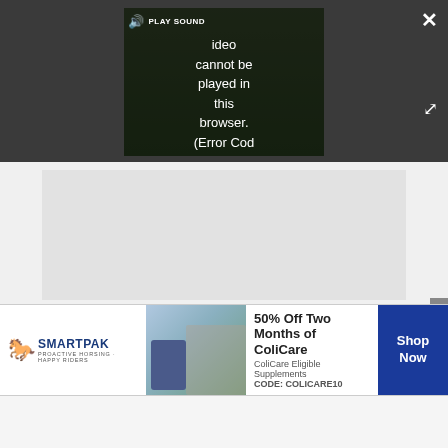[Figure (screenshot): Video player showing error message: 'Video cannot be played in this browser. (Error Cod' with PLAY SOUND button and close/expand controls on dark background]
[Figure (other): Gray placeholder box below video player]
To help prevent dental disease, consider looking for chew toys approved by the Veterinary Oral Health Council. While the VOHC seal is not a guarantee of safety, products bearing this seal have been shown t
[Figure (other): SmartPak advertisement banner: 50% Off Two Months of ColiCare, ColiCare Eligible Supplements, CODE: COLICARE10, Shop Now button]